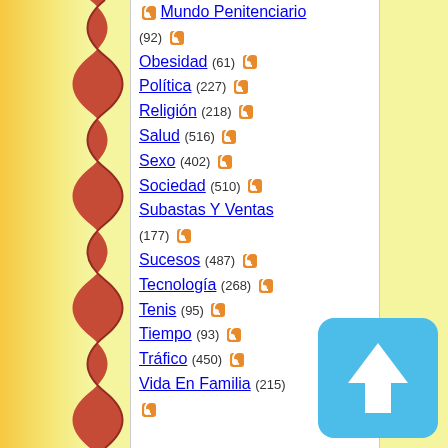Mundo Penitenciario (92)
Obesidad (61)
Política (227)
Religión (218)
Salud (516)
Sexo (402)
Sociedad (510)
Subastas Y Ventas (177)
Sucesos (487)
Tecnología (268)
Tenis (95)
Tiempo (93)
Tráfico (450)
Vida En Familia (215)
Archivo
Julio 2021 (15)
Junio 2021 (82)
Mayo 2021 (46)
Abril 2021 (21)
Marzo 2021 (40)
[Figure (illustration): Blue square button with white upward arrow, for scrolling to top]